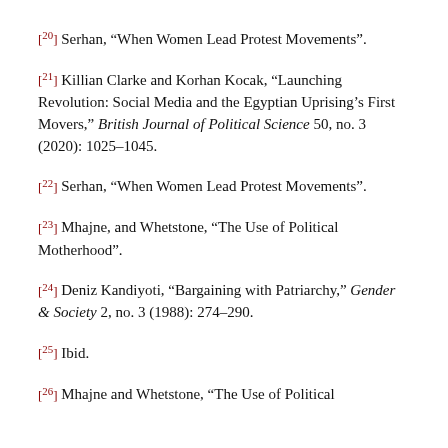[20] Serhan, “When Women Lead Protest Movements”.
[21] Killian Clarke and Korhan Kocak, “Launching Revolution: Social Media and the Egyptian Uprising’s First Movers,” British Journal of Political Science 50, no. 3 (2020): 1025–1045.
[22] Serhan, “When Women Lead Protest Movements”.
[23] Mhajne, and Whetstone, “The Use of Political Motherhood”.
[24] Deniz Kandiyoti, “Bargaining with Patriarchy,” Gender & Society 2, no. 3 (1988): 274–290.
[25] Ibid.
[26] Mhajne and Whetstone, “The Use of Political